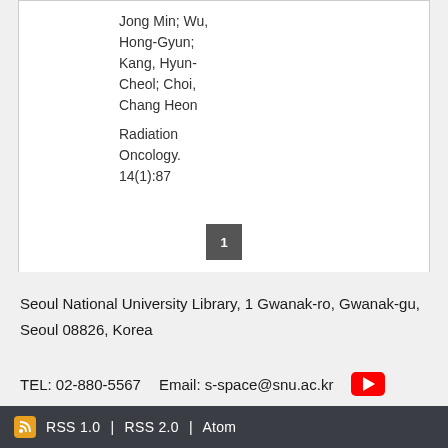Jong Min; Wu, Hong-Gyun; Kang, Hyun-Cheol; Choi, Chang Heon
Radiation Oncology. 14(1):87
1
Seoul National University Library, 1 Gwanak-ro, Gwanak-gu, Seoul 08826, Korea
TEL: 02-880-5567    Email: s-space@snu.ac.kr
RSS 1.0 | RSS 2.0 | Atom